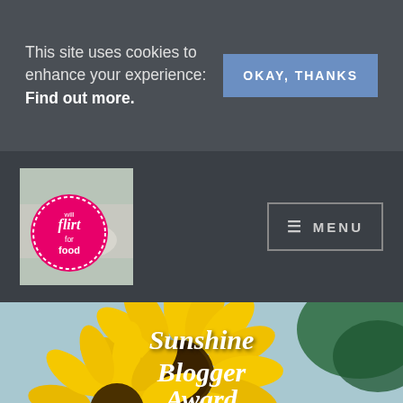This site uses cookies to enhance your experience: Find out more.
OKAY, THANKS
[Figure (logo): Will Flirt for Food blog logo - pink circle with text on a food/dining background photo]
≡ MENU
[Figure (photo): Close-up of a large yellow sunflower with the text 'Sunshine Blogger Award' overlaid in white cursive script]